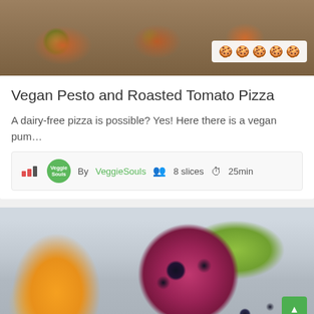[Figure (photo): Food photo showing roasted tomato pizza with herbs and toppings on a wooden board]
Vegan Pesto and Roasted Tomato Pizza
A dairy-free pizza is possible? Yes! Here there is a vegan pum…
By VeggieSouls  8 slices  25min
[Figure (photo): Smoothie in a mason jar with blueberries on top and a striped straw, surrounded by orange slices and a green apple]